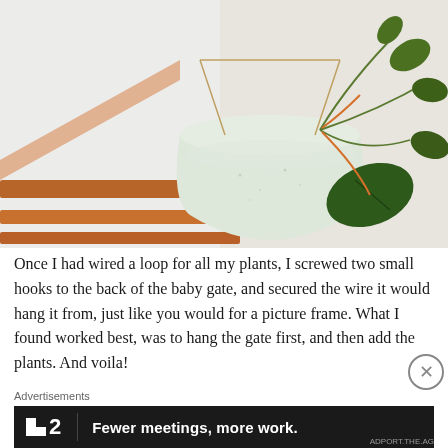[Figure (photo): A white plant pot with a green trailing plant (likely a hoya or pothos) hanging from a wooden baby gate/railing using wire. The background shows white walls and warm-toned wooden stair railings.]
Once I had wired a loop for all my plants, I screwed two small hooks to the back of the baby gate, and secured the wire it would hang it from, just like you would for a picture frame. What I found worked best, was to hang the gate first, and then add the plants. And voila!
Advertisements
[Figure (screenshot): Advertisement banner for Fewer meetings, more work. — dark/black background with white text and a logo showing a square icon and the number 2.]